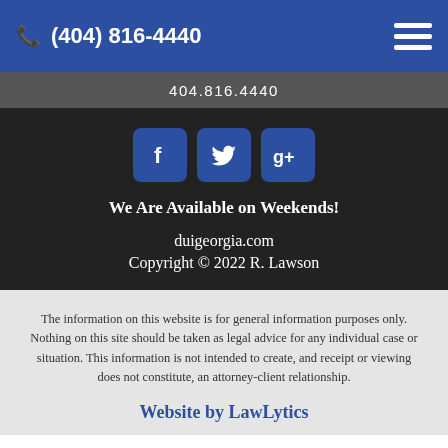(404) 816-4440
404.816.4440
[Figure (infographic): Three social media icon buttons: Facebook (f), Twitter (bird), Google+ (g+), all with blue rounded square backgrounds]
We Are Available on Weekends!
duigeorgia.com
Copyright © 2022 R. Lawson
The information on this website is for general information purposes only. Nothing on this site should be taken as legal advice for any individual case or situation. This information is not intended to create, and receipt or viewing does not constitute, an attorney-client relationship.
Website by LawLytics